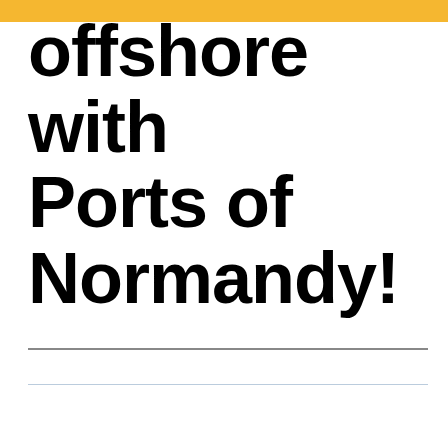offshore with Ports of Normandy!